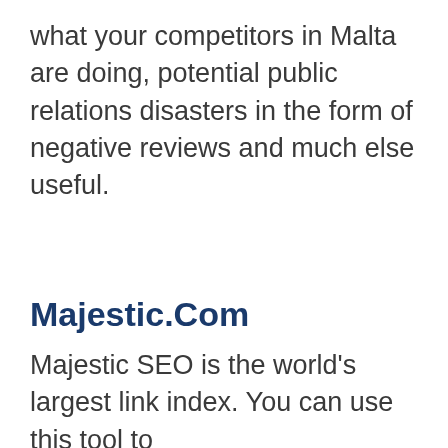what your competitors in Malta are doing, potential public relations disasters in the form of negative reviews and much else useful.
Majestic.Com
Majestic SEO is the world's largest link index. You can use this tool to